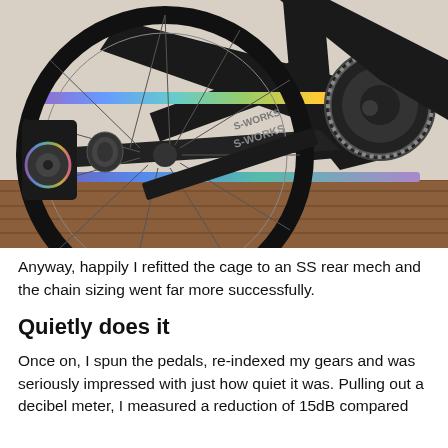[Figure (photo): Close-up photo of a bicycle rear drivetrain showing a colorful iridescent/holographic chain on a Specialized S-Works frame with rear derailleur, cassette, and chainring visible. The bike is positioned on a wooden floor.]
Anyway, happily I refitted the cage to an SS rear mech and the chain sizing went far more successfully.
Quietly does it
Once on, I spun the pedals, re-indexed my gears and was seriously impressed with just how quiet it was. Pulling out a decibel meter, I measured a reduction of 15dB compared